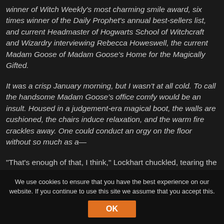winner of Witch Weekly's most charming smile award, six times winner of the Daily Prophet's annual best-sellers list, and current Headmaster of Hogwarts School of Witchcraft and Wizardry interviewing Rebecca Howeswell, the current Madam Goose of Madam Goose's Home for the Magically Gifted.
It was a crisp January morning, but I wasn't at all cold. To call the handsome Madam Goose's office comfy would be an insult. Housed in a judgement-era magical boot, the walls are cushioned, the chairs induce relaxation, and the warm fire crackles away. One could conduct an orgy on the floor without so much as a—
"That's enough of that, I think," Lockhart chuckled, tearing the parchment off while Madam Goose's cheeks reddened. "Tell me about your first meeting with her. Oh, the joy"
We use cookies to ensure that you have the best experience on our website. If you continue to use this site we assume that you accept this.